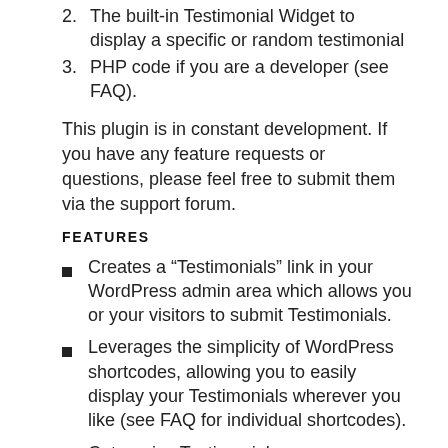2. The built-in Testimonial Widget to display a specific or random testimonial
3. PHP code if you are a developer (see FAQ).
This plugin is in constant development. If you have any feature requests or questions, please feel free to submit them via the support forum.
FEATURES
Creates a “Testimonials” link in your WordPress admin area which allows you or your visitors to submit Testimonials.
Leverages the simplicity of WordPress shortcodes, allowing you to easily display your Testimonials wherever you like (see FAQ for individual shortcodes).
Categorize Testimonials any way you see fit and display those categories wherever you like.